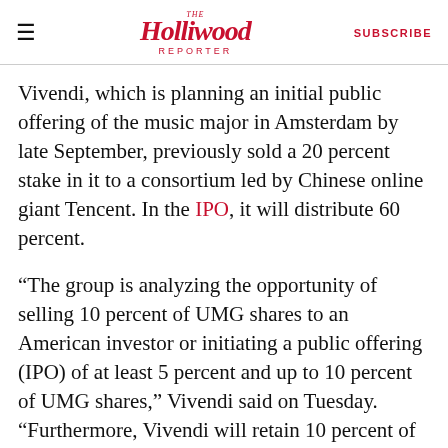The Hollywood Reporter | SUBSCRIBE
Vivendi, which is planning an initial public offering of the music major in Amsterdam by late September, previously sold a 20 percent stake in it to a consortium led by Chinese online giant Tencent. In the IPO, it will distribute 60 percent.
“The group is analyzing the opportunity of selling 10 percent of UMG shares to an American investor or initiating a public offering (IPO) of at least 5 percent and up to 10 percent of UMG shares,” Vivendi said on Tuesday. “Furthermore, Vivendi will retain 10 percent of the UMG share capital for a minimum period of two years in order to remain associated with the development of its subsidiary” while also “benefiting from the protection of EU legislation